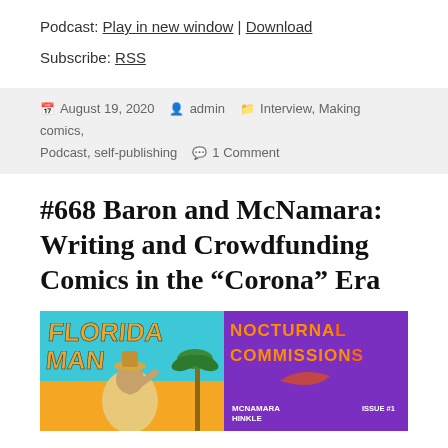Podcast: Play in new window | Download
Subscribe: RSS
August 19, 2020  admin  Interview, Making comics, Podcast, self-publishing  1 Comment
#668 Baron and McNamara: Writing and Crowdfunding Comics in the “Corona” Era
[Figure (photo): Comic book covers: left side shows a colorful comic with a man holding a hat against an orange/teal background with large text 'FLORIDA MAN', right side shows a purple/orange cover reading 'NOCTURNAL COMMISSIONS' with credits 'MCNAMARA HINKLE' and 'ISSUE #1']